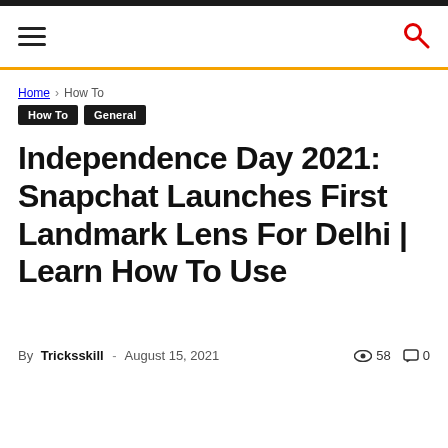Header navigation with hamburger menu and search icon
Home › How To
How To  General
Independence Day 2021: Snapchat Launches First Landmark Lens For Delhi | Learn How To Use
By Tricksskill - August 15, 2021  58  0